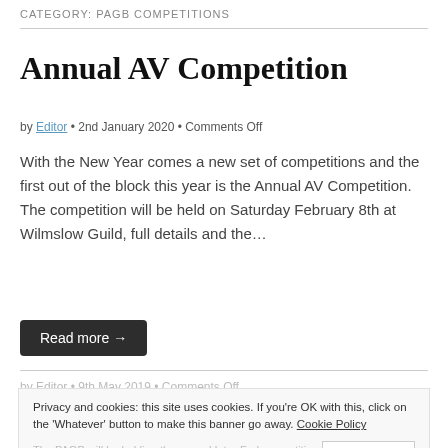CATEGORY: PAGB COMPETITIONS
Annual AV Competition
by Editor • 2nd January 2020 • Comments Off
With the New Year comes a new set of competitions and the first out of the block this year is the Annual AV Competition.  The competition will be held on Saturday February 8th at Wilmslow Guild, full details and the…
Read more →
by Editor • 9th May 2019 • Comments Off
Privacy and cookies: this site uses cookies. If you're OK with this, click on the 'Whatever' button to make this banner go away. Cookie Policy
The PAGB will be holding the annual Inter-Fed competition in June and tickets are available now to attend this exciting event.
This is a great opportunity to see the best in UK Club